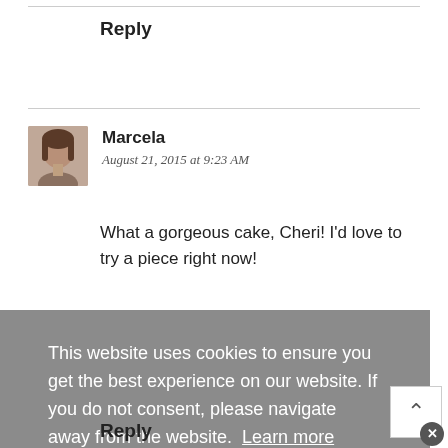Reply
Marcela
August 21, 2015 at 9:23 AM
What a gorgeous cake, Cheri! I'd love to try a piece right now!
This website uses cookies to ensure you get the best experience on our website. If you do not consent, please navigate away from the website. Learn more
I get it & consent to cookies
Reply